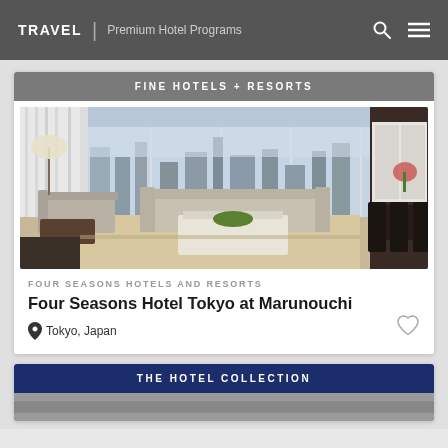TRAVEL | Premium Hotel Programs
FINE HOTELS + RESORTS
[Figure (photo): Luxury hotel suite interior with large windows overlooking city skyline, beige sofas, glass coffee table with green plant centerpiece, and dining area with dark chairs]
FOUR SEASONS HOTELS AND RESORTS
Four Seasons Hotel Tokyo at Marunouchi
Tokyo, Japan
THE HOTEL COLLECTION